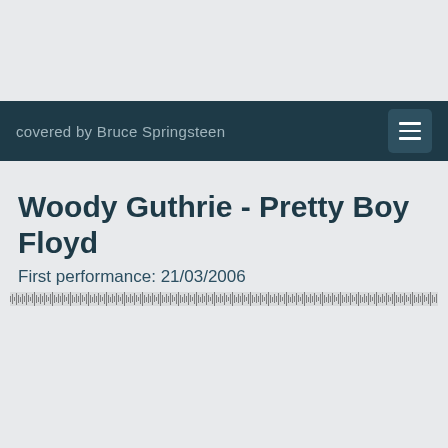covered by Bruce Springsteen
Woody Guthrie - Pretty Boy Floyd
First performance: 21/03/2006
[Figure (other): Audio waveform visualization showing a dense horizontal waveform strip spanning the full width of the page]